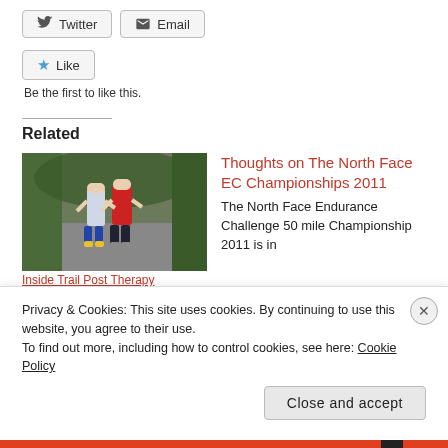[Figure (screenshot): Twitter and Email share buttons]
[Figure (screenshot): Like button with star icon and 'Be the first to like this.' text]
Be the first to like this.
Related
[Figure (photo): Two trail runners on a road, one in white/blue vest and one in red/white vest, running through a green landscape.]
Inside Trail Post Therapy
Thoughts on The North Face EC Championships 2011
The North Face Endurance Challenge 50 mile Championship 2011 is in
Privacy & Cookies: This site uses cookies. By continuing to use this website, you agree to their use.
To find out more, including how to control cookies, see here: Cookie Policy
Close and accept